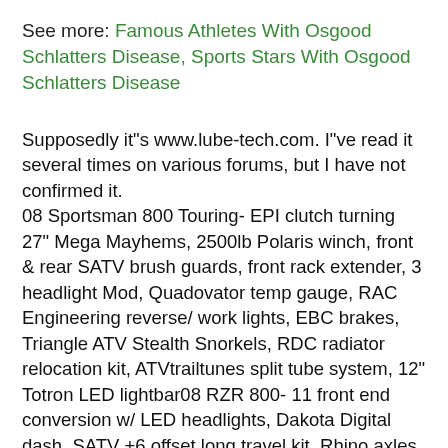See more: Famous Athletes With Osgood Schlatters Disease, Sports Stars With Osgood Schlatters Disease
Supposedly it"s www.lube-tech.com. I"ve read it several times on various forums, but I have not confirmed it.
08 Sportsman 800 Touring- EPI clutch turning 27" Mega Mayhems, 2500lb Polaris winch, front & rear SATV brush guards, front rack extender, 3 headlight Mod, Quadovator temp gauge, RAC Engineering reverse/ work lights, EBC brakes, Triangle ATV Stealth Snorkels, RDC radiator relocation kit, ATVtrailtunes split tube system, 12" Totron LED lightbar08 RZR 800- 11 front end conversion w/ LED headlights, Dakota Digital dash, SATV +6 offset long travel kit, Rhino axles, 900XP shocks, 900 front hub/ brake conversion, OSC clutch turning 30"